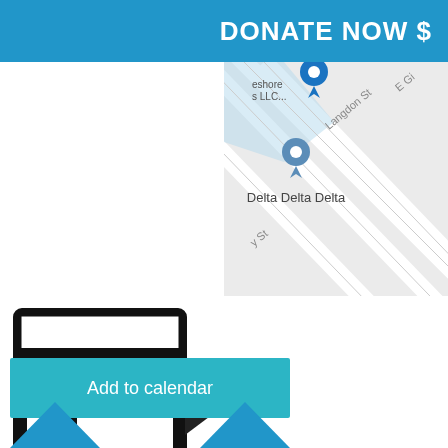DONATE NOW $
[Figure (map): Street map showing Delta Delta Delta location with map pins. Streets include Langdon St, E Gi[lman], and partial street names. Two location pins visible, one labeled 'eshore s LLC...' and one labeled 'Delta Delta Delta'.]
[Figure (infographic): Calendar icon (outlined square with header bar and left panel) with a right-pointing arrow/play button next to it, indicating adding to calendar action.]
Add to calendar
[Figure (infographic): Two upward-pointing triangles (carets) in blue at the bottom of the page, indicating navigation or scroll up controls.]